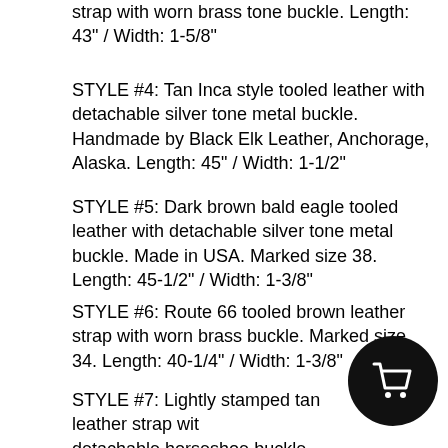strap with worn brass tone buckle. Length: 43" / Width: 1-5/8"
STYLE #4: Tan Inca style tooled leather with detachable silver tone metal buckle. Handmade by Black Elk Leather, Anchorage, Alaska. Length: 45" / Width: 1-1/2"
STYLE #5: Dark brown bald eagle tooled leather with detachable silver tone metal buckle. Made in USA. Marked size 38. Length: 45-1/2" / Width: 1-3/8"
STYLE #6: Route 66 tooled brown leather strap with worn brass buckle. Marked size 34. Length: 40-1/4" / Width: 1-3/8"
STYLE #7: Lightly stamped tan leather strap with detachable horseshoe buckle with faux turquoise. Length: 34-1/2" / Width: 1-3/16"
STYLE #8: Bold...